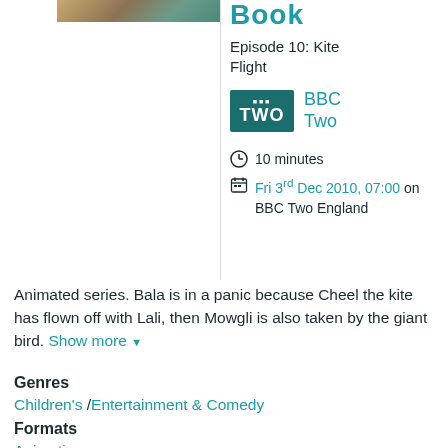[Figure (photo): Thumbnail image for the TV show episode, showing an animated scene.]
Book
Episode 10: Kite Flight
[Figure (logo): BBC Two channel logo badge (teal background, white text).]
BBC Two
10 minutes
Fri 3rd Dec 2010, 07:00 on BBC Two England
Animated series. Bala is in a panic because Cheel the kite has flown off with Lali, then Mowgli is also taken by the giant bird. Show more
Genres
Children's /Entertainment & Comedy
Formats
Animation